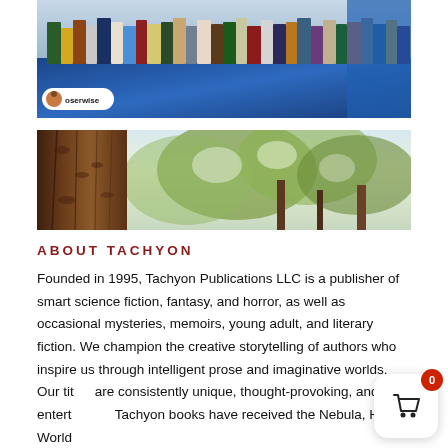[Figure (photo): Books displayed on a table with a blue tablecloth at what appears to be an outdoor book fair or convention. An Instagram badge with username 'oserwise' is overlaid in the bottom-left corner of the photo.]
[Figure (photo): Nature scene showing tree bark in the foreground on the left and green foliage/trees visible in the background, taken from below looking up.]
ABOUT TACHYON
Founded in 1995, Tachyon Publications LLC is a publisher of smart science fiction, fantasy, and horror, as well as occasional mysteries, memoirs, young adult, and literary fiction. We champion the creative storytelling of authors who inspire us through intelligent prose and imaginative worlds. Our titles are consistently unique, thought-provoking, and entertaining. Tachyon books have received the Nebula, Hugo, World Fantasy, Stoker, and other major literary awards. Grand Prix de...